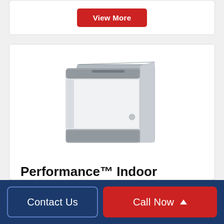[Figure (other): View More button (red/crimson rounded rectangle button with white text)]
[Figure (photo): Performance Indoor Ductless Floor Console Heat Pump Unit - white floor-standing HVAC unit with ventilation grilles at top and bottom, viewed from a slight angle]
Performance™ Indoor Ductless Floor Console Heat Pump Unit
View Brochure
Contact Us
Call Now